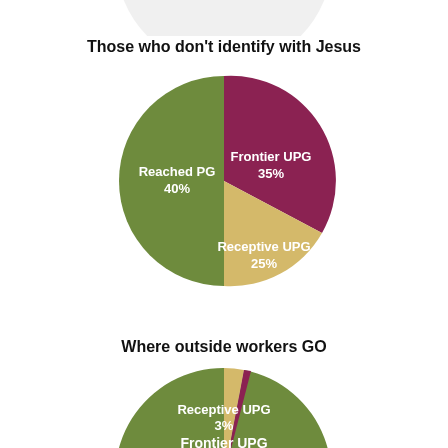[Figure (pie-chart): Partial pie chart cropped at top of page showing olive/green slice]
Those who don't identify with Jesus
[Figure (pie-chart): Those who don't identify with Jesus]
Where outside workers GO
[Figure (pie-chart): Partial pie chart at bottom showing Reached PG dominates, small Receptive UPG 3% and Frontier UPG 1% slivers]